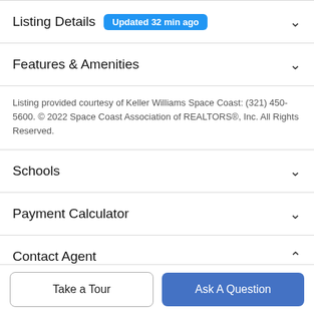Listing Details  Updated 32 min ago
Features & Amenities
Listing provided courtesy of Keller Williams Space Coast: (321) 450-5600. © 2022 Space Coast Association of REALTORS®, Inc. All Rights Reserved.
Schools
Payment Calculator
Contact Agent
Take a Tour
Ask A Question